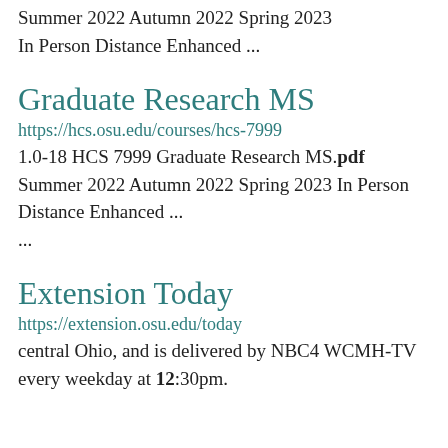Summer 2022 Autumn 2022 Spring 2023 In Person Distance Enhanced ...
Graduate Research MS
https://hcs.osu.edu/courses/hcs-7999
1.0-18 HCS 7999 Graduate Research MS.pdf Summer 2022 Autumn 2022 Spring 2023 In Person Distance Enhanced ...
Extension Today
https://extension.osu.edu/today
central Ohio, and is delivered by NBC4 WCMH-TV every weekday at 12:30pm.